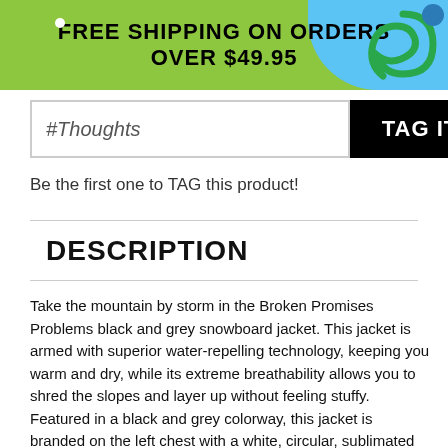FREE SHIPPING ON ORDERS OVER $49.95
#Thoughts
TAG IT
Be the first one to TAG this product!
DESCRIPTION
Take the mountain by storm in the Broken Promises Problems black and grey snowboard jacket. This jacket is armed with superior water-repelling technology, keeping you warm and dry, while its extreme breathability allows you to shred the slopes and layer up without feeling stuffy. Featured in a black and grey colorway, this jacket is branded on the left chest with a white, circular, sublimated "Promises" script, while the back has a sublimated graphic of flaming green skull and pink script reading "I tried to help you with all of your problems but then you became one," leaving the riders behind you in ponderance as you cruise on by.